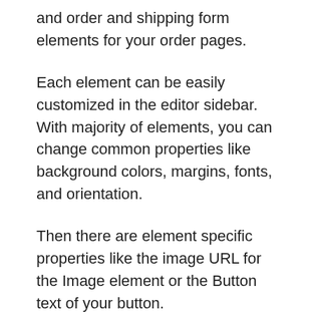and order and shipping form elements for your order pages.
Each element can be easily customized in the editor sidebar. With majority of elements, you can change common properties like background colors, margins, fonts, and orientation.
Then there are element specific properties like the image URL for the Image element or the Button text of your button.
Best Feature #4: The Kartra Affiliate program is awesome
There's no doubt in my mind that Kartra has of the